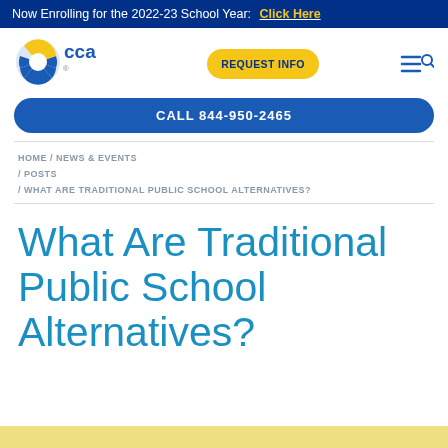Now Enrolling for the 2022-23 School Year: Click Here
[Figure (logo): CCA California Cyber Charter Academy logo with blue/yellow sunburst icon and stylized 'cca' text]
REQUEST INFO
CALL 844-950-2465
HOME / NEWS & EVENTS / POSTS / WHAT ARE TRADITIONAL PUBLIC SCHOOL ALTERNATIVES?
What Are Traditional Public School Alternatives?